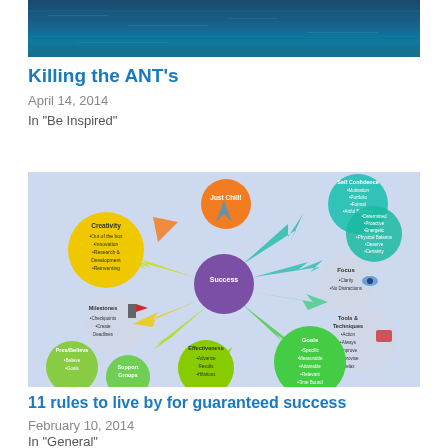[Figure (photo): Ocean water surface photo — dark blue tones, top portion of a blog post thumbnail]
Killing the ANT's
April 14, 2014
In "Be Inspired"
[Figure (infographic): Mind-map style infographic showing circles labeled Creativity, Just Chill, Self Confidence, Focus, Tools & Techniques, Goals, Effectiveness, Support Groups, Pres/Believe, Milestones with colorful arrows radiating from a central purple circle labeled Success]
11 rules to live by for guaranteed success
February 10, 2014
In "General"